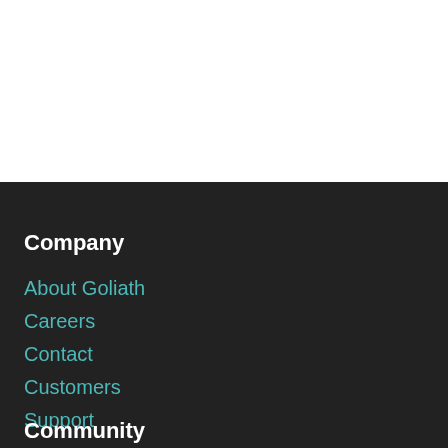Company
About Goliath
Careers
Contact
Customers
Support
Community